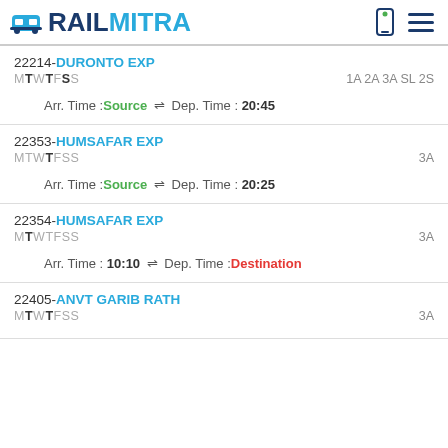RAILMITRA
22214-DURONTO EXP  MTWTFSS  1A 2A 3A SL 2S  Arr. Time :Source ⇌ Dep. Time : 20:45
22353-HUMSAFAR EXP  MTWTFSS  3A  Arr. Time :Source ⇌ Dep. Time : 20:25
22354-HUMSAFAR EXP  MTWTFSS  3A  Arr. Time : 10:10 ⇌ Dep. Time :Destination
22405-ANVT GARIB RATH  MTWTFSS  3A